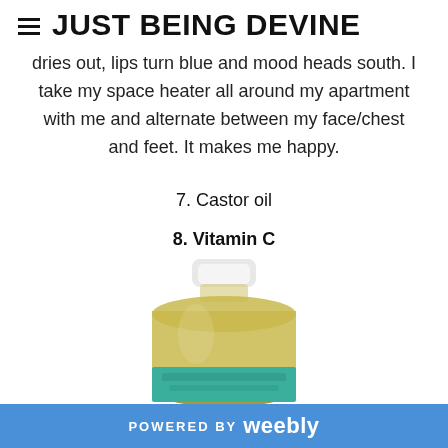JUST BEING DEVINE
dries out, lips turn blue and mood heads south. I take my space heater all around my apartment with me and alternate between my face/chest and feet. It makes me happy.
7. Castor oil
8. Vitamin C
[Figure (photo): A bottle of oil (castor oil) with a white cap and golden-yellow liquid body, partially visible, with a teal/green label at the bottom.]
POWERED BY weebly